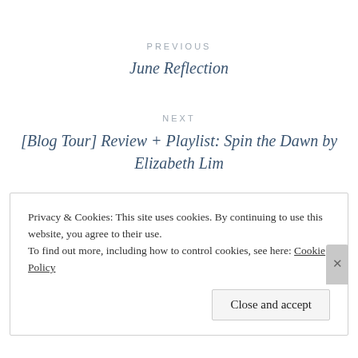PREVIOUS
June Reflection
NEXT
[Blog Tour] Review + Playlist: Spin the Dawn by Elizabeth Lim
Privacy & Cookies: This site uses cookies. By continuing to use this website, you agree to their use.
To find out more, including how to control cookies, see here: Cookie Policy
Close and accept